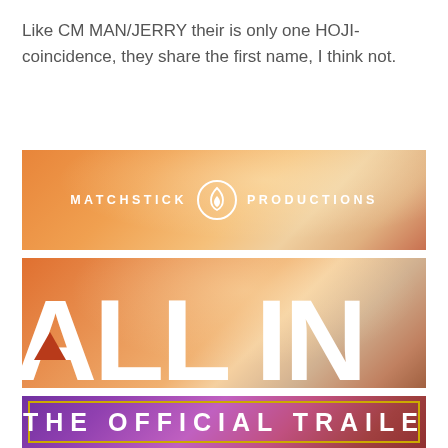Like CM MAN/JERRY their is only one HOJI-coincidence, they share the first name, I think not.
[Figure (screenshot): Matchstick Productions logo banner with orange gradient background and white flame logo icon between the words MATCHSTICK and PRODUCTIONS]
[Figure (screenshot): Movie title graphic showing 'ALL IN' text in large white bold letters on a warm orange gradient background with dust/sparkle effect and a small triangle symbol]
[Figure (screenshot): Movie trailer title card reading 'THE OFFICIAL TRAILE' (partially cut off) in white spaced letters on a purple-pink gradient background with yellow border rectangle]